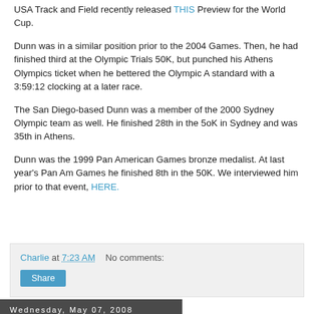USA Track and Field recently released THIS Preview for the World Cup.
Dunn was in a similar position prior to the 2004 Games. Then, he had finished third at the Olympic Trials 50K, but punched his Athens Olympics ticket when he bettered the Olympic A standard with a 3:59:12 clocking at a later race.
The San Diego-based Dunn was a member of the 2000 Sydney Olympic team as well. He finished 28th in the 5oK in Sydney and was 35th in Athens.
Dunn was the 1999 Pan American Games bronze medalist. At last year's Pan Am Games he finished 8th in the 50K. We interviewed him prior to that event, HERE.
Charlie at 7:23 AM    No comments:
Wednesday, May 07, 2008